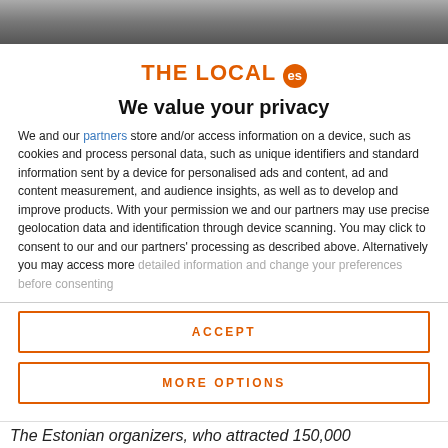[Figure (photo): Dark cityscape photo banner at top of page]
THE LOCAL es
We value your privacy
We and our partners store and/or access information on a device, such as cookies and process personal data, such as unique identifiers and standard information sent by a device for personalised ads and content, ad and content measurement, and audience insights, as well as to develop and improve products. With your permission we and our partners may use precise geolocation data and identification through device scanning. You may click to consent to our and our partners' processing as described above. Alternatively you may access more detailed information and change your preferences before consenting
ACCEPT
MORE OPTIONS
The Estonian organizers, who attracted 150,000